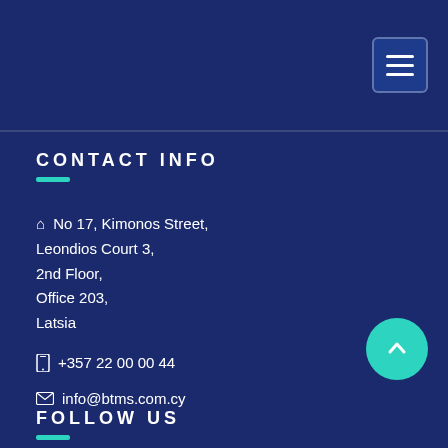Menu navigation header with hamburger icon
CONTACT INFO
No 17, Kimonos Street, Leondios Court 3, 2nd Floor, Office 203, Latsia
+357 22 00 00 44
info@btms.com.cy
FOLLOW US